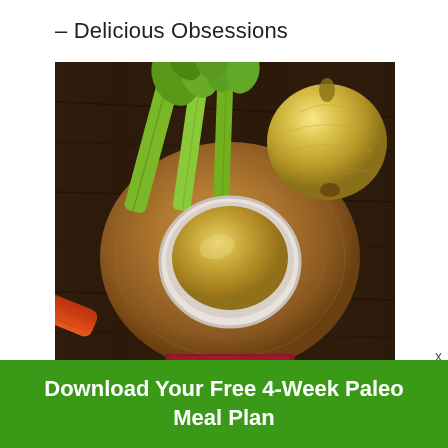– Delicious Obsessions
[Figure (photo): Overhead photo of a wooden cutting board with a white bowl of golden broth/stock, a celery stalk, a carrot, and an onion on a dark wood background. A red item is partially visible at the bottom.]
Download Your Free 4-Week Paleo Meal Plan